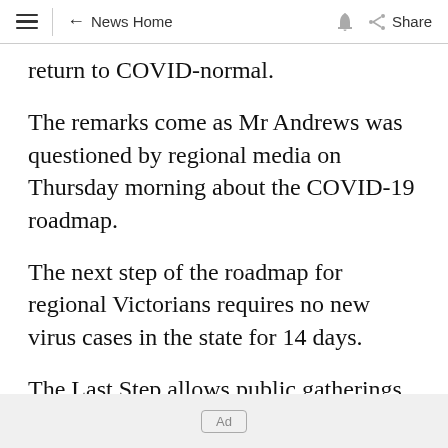≡  ← News Home  🔔  ⊲ Share
return to COVID-normal.
The remarks come as Mr Andrews was questioned by regional media on Thursday morning about the COVID-19 roadmap.
The next step of the roadmap for regional Victorians requires no new virus cases in the state for 14 days.
The Last Step allows public gatherings of up to
Ad